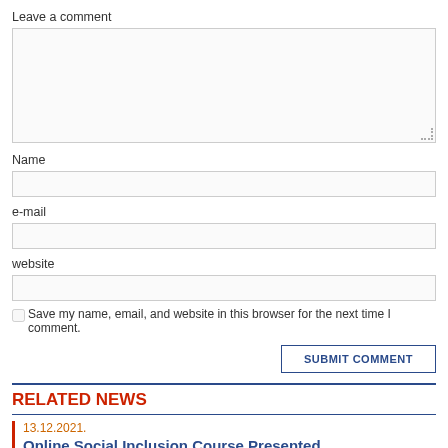Leave a comment
Name
e-mail
website
Save my name, email, and website in this browser for the next time I comment.
SUBMIT COMMENT
RELATED NEWS
13.12.2021.
Online Social Inclusion Course Presented